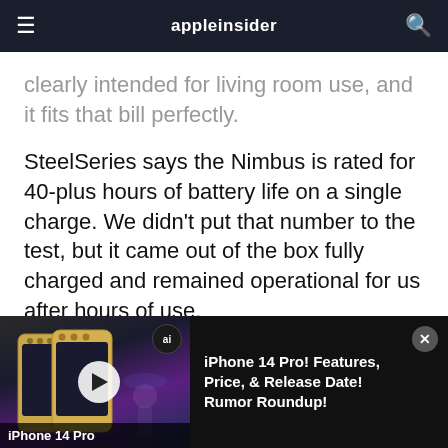appleinsider
clearly intended for living room use, and it fits that bill perfectly.
SteelSeries says the Nimbus is rated for 40-plus hours of battery life on a single charge. We didn't put that number to the test, but it came out of the box fully charged and remained operational for us after hours of use.
Being the first controller on the market with
[Figure (screenshot): Video advertisement banner for iPhone 14 Pro featuring thumbnail with iPhone image and play button, title text 'iPhone 14 Pro! Features, Price, & Release Date! Rumor Roundup!' with AppleInsider ai badge and close button]